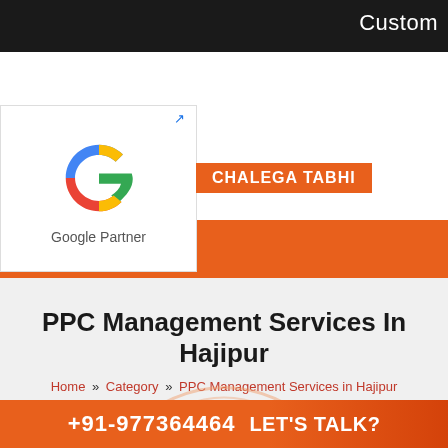Custom
[Figure (logo): Google Partner logo with Google G icon and text 'Google Partner' below it, in a white bordered box with an external link icon]
CHALEGA TABHI
[Figure (other): Orange strip with 3x3 white grid/menu icon on the right]
PPC Management Services In Hajipur
Home » Category » PPC Management Services in Hajipur
[Figure (other): Orange arc/semicircle decoration at bottom of gray section]
+91-977364464 LET'S TALK?